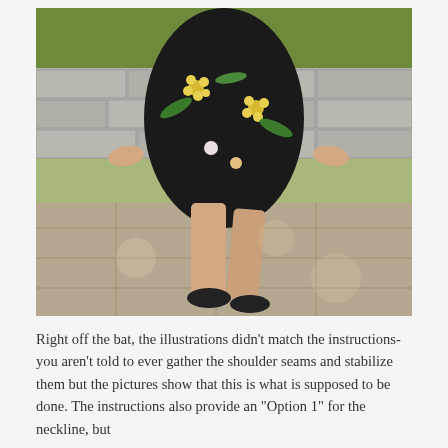[Figure (photo): A person wearing a black floral tropical print dress with yellow, green, and orange flowers and palm leaves, leaning against a stone wall outdoors on a paved surface. Only the torso and legs are visible. The person wears black flats with embellishments.]
Right off the bat, the illustrations didn't match the instructions- you aren't told to ever gather the shoulder seams and stabilize them but the pictures show that this is what is supposed to be done. The instructions also provide an "Option 1" for the neckline, but